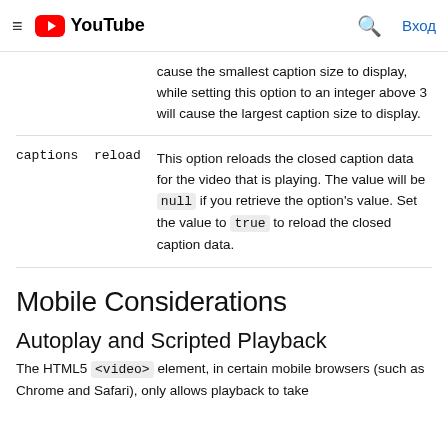≡ YouTube  🔍 Вход
| Parameter | Description |
| --- | --- |
|  | cause the smallest caption size to display, while setting this option to an integer above 3 will cause the largest caption size to display. |
| captions  reload | This option reloads the closed caption data for the video that is playing. The value will be null if you retrieve the option's value. Set the value to true to reload the closed caption data. |
Mobile Considerations
Autoplay and Scripted Playback
The HTML5 <video> element, in certain mobile browsers (such as Chrome and Safari), only allows playback to take